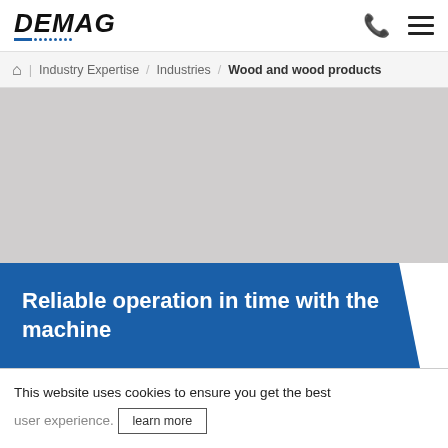DEMAG
Industry Expertise / Industries / Wood and wood products
[Figure (photo): Hero image area showing wood/industrial scene (blank/grey placeholder)]
Reliable operation in time with the machine
This website uses cookies to ensure you get the best
learn more